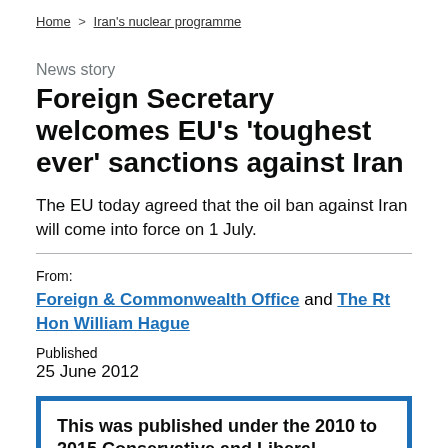Home > Iran's nuclear programme
News story
Foreign Secretary welcomes EU's 'toughest ever' sanctions against Iran
The EU today agreed that the oil ban against Iran will come into force on 1 July.
From:
Foreign & Commonwealth Office and The Rt Hon William Hague
Published
25 June 2012
This was published under the 2010 to 2015 Conservative and Liberal Democrat coalition government